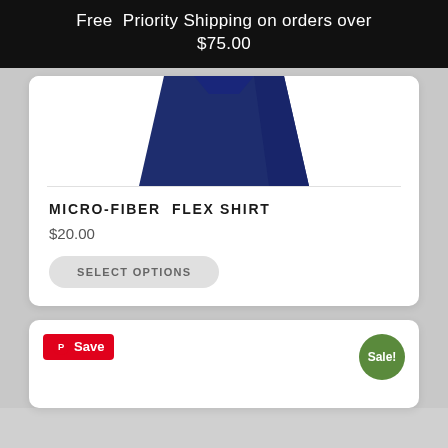Free Priority Shipping on orders over $75.00
[Figure (photo): Partial view of a navy blue micro-fiber flex shirt folded, showing the upper body/shoulder area against a white background inside a product card.]
MICRO-FIBER FLEX SHIRT
$20.00
SELECT OPTIONS
[Figure (screenshot): Bottom of page showing a second product card with a red Pinterest Save button on left and a green Sale! badge on the right.]